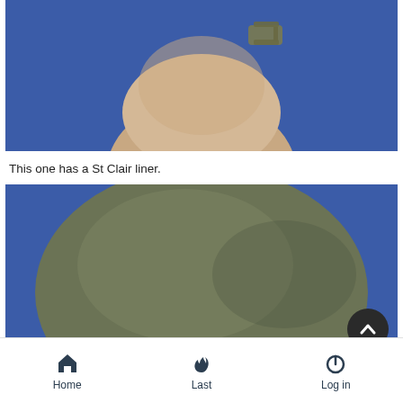[Figure (photo): Photograph of a helmet liner/foam head form on a blue background, showing a chin strap buckle at the top.]
This one has a St Clair liner.
[Figure (photo): Photograph of an olive drab military helmet (M1 style) viewed from above/back on a blue background, with reddish-brown chin strap visible at the bottom. A dark circular scroll-to-top button is visible in the lower right corner.]
Home  Last  Log in